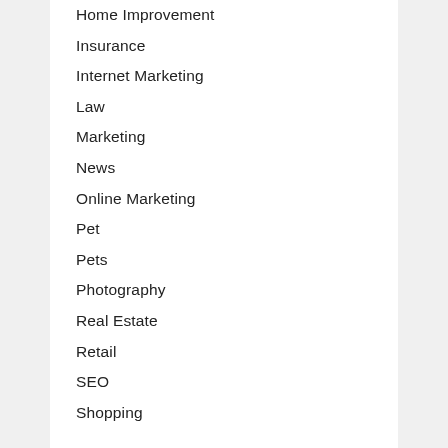Home Improvement
Insurance
Internet Marketing
Law
Marketing
News
Online Marketing
Pet
Pets
Photography
Real Estate
Retail
SEO
Shopping